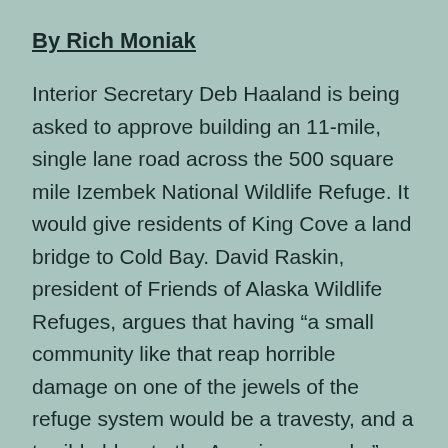By Rich Moniak
Interior Secretary Deb Haaland is being asked to approve building an 11-mile, single lane road across the 500 square mile Izembek National Wildlife Refuge. It would give residents of King Cove a land bridge to Cold Bay. David Raskin, president of Friends of Alaska Wildlife Refuges, argues that having “a small community like that reap horrible damage on one of the jewels of the refuge system would be a travesty, and a terrible blow to the American people.”
In 2014, after Interior Secretary Sally Jewell